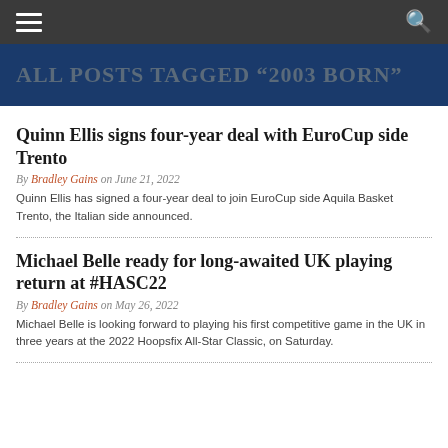[navigation bar with hamburger menu and search icon]
ALL POSTS TAGGED "2003 BORN"
Quinn Ellis signs four-year deal with EuroCup side Trento
By Bradley Gains on June 21, 2022
Quinn Ellis has signed a four-year deal to join EuroCup side Aquila Basket Trento, the Italian side announced.
Michael Belle ready for long-awaited UK playing return at #HASC22
By Bradley Gains on May 26, 2022
Michael Belle is looking forward to playing his first competitive game in the UK in three years at the 2022 Hoopsfix All-Star Classic, on Saturday.